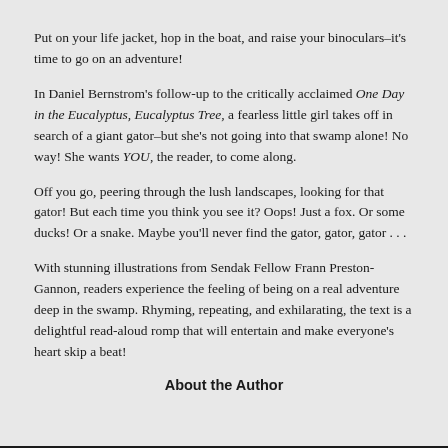Put on your life jacket, hop in the boat, and raise your binoculars–it's time to go on an adventure!
In Daniel Bernstrom's follow-up to the critically acclaimed One Day in the Eucalyptus, Eucalyptus Tree, a fearless little girl takes off in search of a giant gator–but she's not going into that swamp alone! No way! She wants YOU, the reader, to come along.
Off you go, peering through the lush landscapes, looking for that gator! But each time you think you see it? Oops! Just a fox. Or some ducks! Or a snake. Maybe you'll never find the gator, gator, gator . . .
With stunning illustrations from Sendak Fellow Frann Preston-Gannon, readers experience the feeling of being on a real adventure deep in the swamp. Rhyming, repeating, and exhilarating, the text is a delightful read-aloud romp that will entertain and make everyone's heart skip a beat!
About the Author